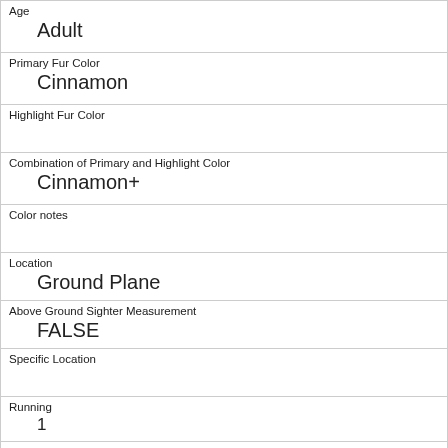| Age | Adult |
| Primary Fur Color | Cinnamon |
| Highlight Fur Color |  |
| Combination of Primary and Highlight Color | Cinnamon+ |
| Color notes |  |
| Location | Ground Plane |
| Above Ground Sighter Measurement | FALSE |
| Specific Location |  |
| Running | 1 |
| Chasing | 1 |
| Climbing |  |